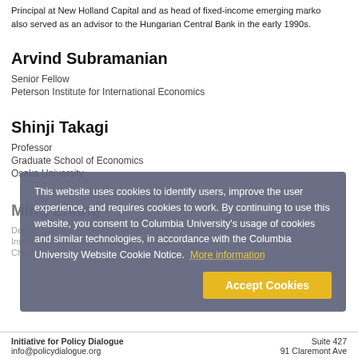Principal at New Holland Capital and as head of fixed-income emerging markets. also served as an advisor to the Hungarian Central Bank in the early 1990s.
Arvind Subramanian
Senior Fellow
Peterson Institute for International Economics
Shinji Takagi
Professor
Graduate School of Economics
Osaka University
Ming Zhang
Deputy Director, Research Section of International Finance
Institute of World Economics and Politics
Chinese Academy of Social Sciences
[Figure (other): Cookie consent overlay dialog with text: This website uses cookies to identify users, improve the user experience, and requires cookies to work. By continuing to use this website, you consent to Columbia University's usage of cookies and similar technologies, in accordance with the Columbia University Website Cookie Notice. More information (link). Accept Cookies button.]
Initiative for Policy Dialogue    Suite 427
info@policydialogue.org    91 Claremont Ave